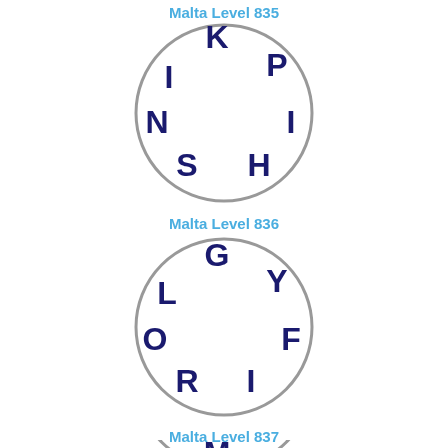Malta Level 835
[Figure (illustration): Circle with letters K, P, I, N, I, S, H arranged around the perimeter]
Malta Level 836
[Figure (illustration): Circle with letters G, Y, L, F, O, R, I arranged around the perimeter]
Malta Level 837
[Figure (illustration): Partial circle with letter M visible at top]